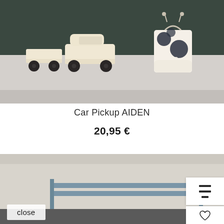[Figure (photo): Wooden toy pickup truck set (car body and trailer) with dark wheels, placed on a light-colored shelf/table surface against a dark green background. A fabric drawstring bag with 'PICK UP' text is on the right.]
Car Pickup AIDEN
20,95 €
[Figure (photo): Partial view of another product on a grey/beige shelf, with blue-grey horizontal rails or slats visible, partially cut off at the bottom of the page.]